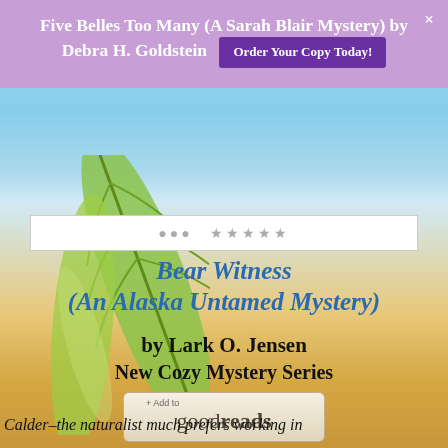[Figure (screenshot): Beach background with tropical palm leaves on left, blue sky and ocean in upper portion, sandy beach in lower portion]
Five Belles Too Many (A Sarah Blair Mystery) by Debra H. Goldstein   Order Your Copy Today!
Bear Witness (An Alaska Untamed Mystery)
by Lark O. Jensen
New Cozy Mystery Series
[Figure (logo): + Add to goodreads button]
Privacy & Cookies: This site uses cookies. By continuing to use this website, you agree to their use.
To find out more, including how to control cookies, see here: Cookie Policy
Close and accept
Calder–the naturalist much prefers working in